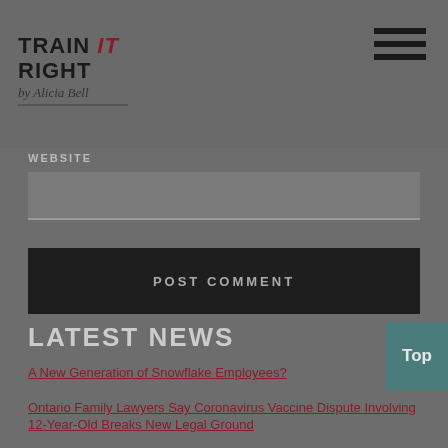[Figure (logo): Train IT Right by Alicia Bell logo with hamburger menu icon]
WEBSITE
[Figure (other): Website input field (text input box)]
POST COMMENT
LATEST NEWS
A New Generation of Snowflake Employees?
Ontario Family Lawyers Say Coronavirus Vaccine Dispute Involving 12-Year-Old Breaks New Legal Ground